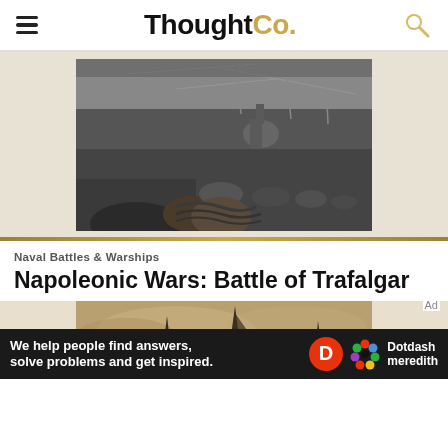ThoughtCo.
[Figure (photo): Black and white photograph of soldiers in a WWI trench, helmeted soldiers crouching low with barbed wire in background]
Naval Battles & Warships
Napoleonic Wars: Battle of Trafalgar
[Figure (photo): Sepia-toned painting or photograph of tall ships at sea in foggy/smoky conditions, Battle of Trafalgar scene]
Ad
We help people find answers, solve problems and get inspired. Dotdash meredith